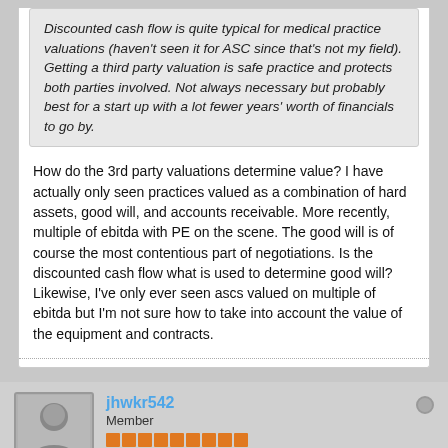Discounted cash flow is quite typical for medical practice valuations (haven't seen it for ASC since that's not my field). Getting a third party valuation is safe practice and protects both parties involved. Not always necessary but probably best for a start up with a lot fewer years' worth of financials to go by.
How do the 3rd party valuations determine value? I have actually only seen practices valued as a combination of hard assets, good will, and accounts receivable. More recently, multiple of ebitda with PE on the scene. The good will is of course the most contentious part of negotiations. Is the discounted cash flow what is used to determine good will? Likewise, I've only ever seen ascs valued on multiple of ebitda but I'm not sure how to take into account the value of the equipment and contracts.
jhwkr542
Member
Join Date: Feb 2016   Posts: 1956